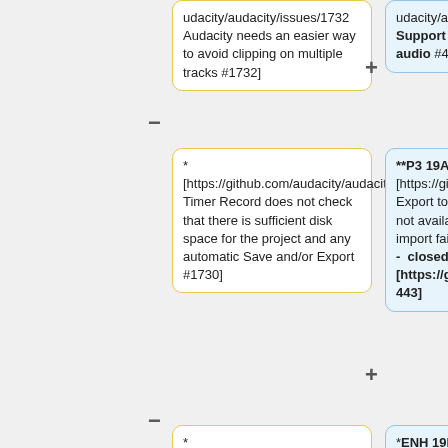* [https://github.com/audacity/audacity/issues/1732 Audacity needs an easier way to avoid clipping on multiple tracks #1732]
**P3 19Aug21 [https://github.com/audacity/audacity/issues/443 Support opus format for audio #433]
* [https://github.com/audacity/audacity/issues/1730 Timer Record does not check that there is sufficient disk space for the project and any automatic Save and/or Export #1730]
**P3 19Aug21 [https://github.com/audacity/audacity/issues/1515 Export to Opus (OggOpus) is not available on Mac - Opus import fails on Mac #1515] - closed in favor of [https://github.com/audacity/audacity/issues/443 443]
* [https://github.com/audacity/audacity/issues/1676 Directories preferences fails
*ENH 19Nov21 [https://github.com/audacity/audacity/issues/2168 Improvements to macro output